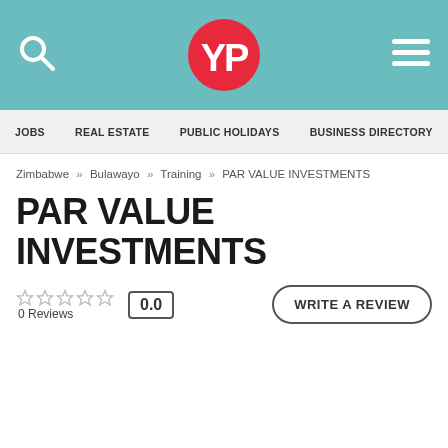YP (Yellow Pages) website header with search icon, YP logo, and hamburger menu
JOBS  REAL ESTATE  PUBLIC HOLIDAYS  BUSINESS DIRECTORY
Zimbabwe » Bulawayo » Training » PAR VALUE INVESTMENTS
PAR VALUE INVESTMENTS
0 Reviews  0.0  WRITE A REVIEW